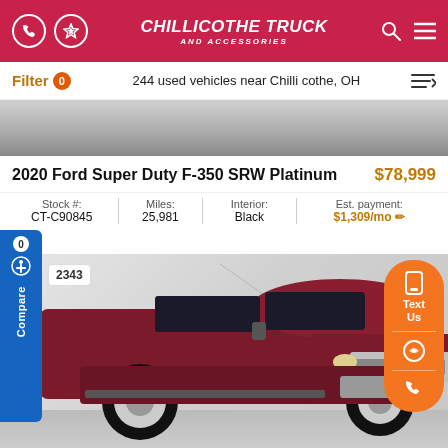CHILLICOTHE TRUCK AND ACCESSORIES
Filter 0   244 used vehicles near Chillicothe, OH
[Figure (photo): Partial photo of a vehicle interior/exterior banner at top of listing]
2020 Ford Super Duty F-350 SRW Platinum   $78,999
| Stock #: | Miles: | Interior: | Est. payment: |
| --- | --- | --- | --- |
| CT-C90845 | 25,981 | Black | $1,309/mo |
[Figure (photo): Red/maroon RAM 2500 or 3500 pickup truck shown in dealership studio, front 3/4 view, lifted with off-road tires, chrome grille with RAM lettering]
2343
Text Us